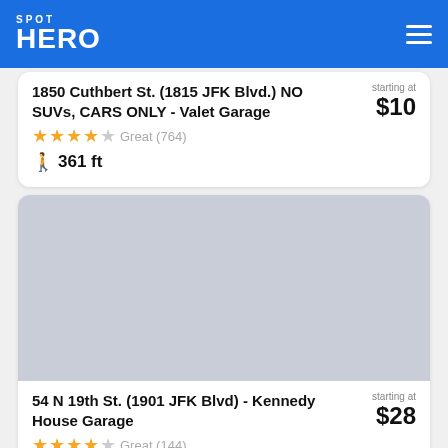[Figure (logo): SpotHero logo in white on blue header background]
1850 Cuthbert St. (1815 JFK Blvd.) NO SUVs, CARS ONLY - Valet Garage
starting at $10
Great (764)
361 ft
[Figure (photo): Gray placeholder image for parking location]
54 N 19th St. (1901 JFK Blvd) - Kennedy House Garage
starting at $28
Great (144)